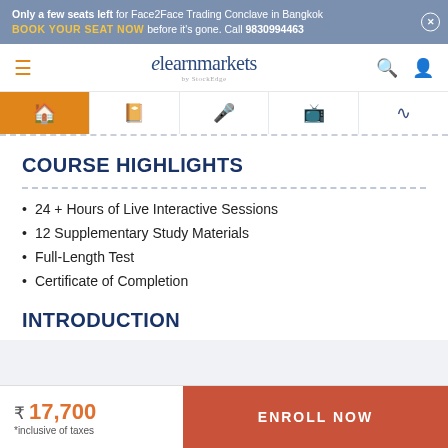Only a few seats left for Face2Face Trading Conclave in Bangkok. BOOK YOUR SEAT NOW before it's gone. Call 9830994463
[Figure (screenshot): elearnmarkets website navigation bar with logo, hamburger menu, search and user icons]
[Figure (screenshot): Tab bar with home (active/orange), book, microphone, desktop, and wifi icons]
COURSE HIGHLIGHTS
24 + Hours of Live Interactive Sessions
12 Supplementary Study Materials
Full-Length Test
Certificate of Completion
INTRODUCTION
₹ 17,700 *inclusive of taxes
ENROLL NOW